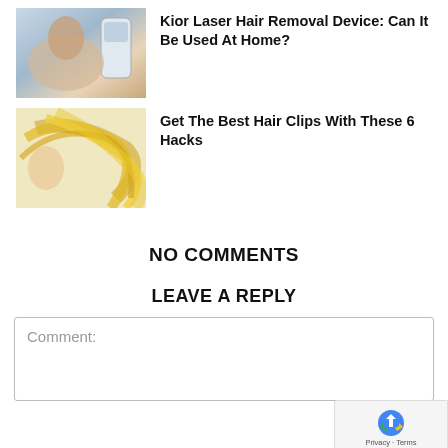[Figure (photo): Photo of a man receiving laser hair removal treatment on his chest in a clinical setting]
Kior Laser Hair Removal Device: Can It Be Used At Home?
[Figure (photo): Photo of a woman with long flowing blonde hair]
Get The Best Hair Clips With These 6 Hacks
NO COMMENTS
LEAVE A REPLY
Comment:
[Figure (other): reCAPTCHA widget overlay showing Privacy and Terms links]